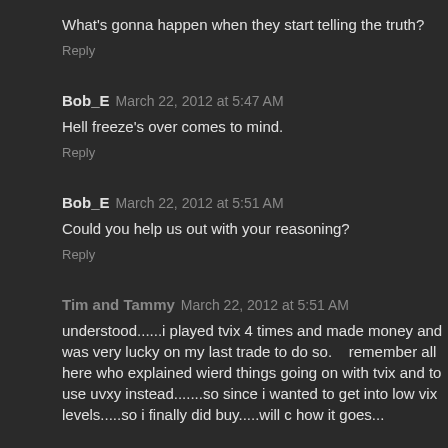What's gonna happen when they start telling the truth?
Reply
Bob_E  March 22, 2012 at 5:47 AM
Hell freeze's over comes to mind.
Reply
Bob_E  March 22, 2012 at 5:51 AM
Could you help us out with your reasoning?
Reply
Tim and Tammy  March 22, 2012 at 5:51 AM
understood......i played tvix 4 times and made money and was very lucky on my last trade to do so.    remember all here who explained wierd things going on with tvix and to use uvxy instead.......so since i wanted to get into low vix levels.....so i finally did buy.....will c how it goes...